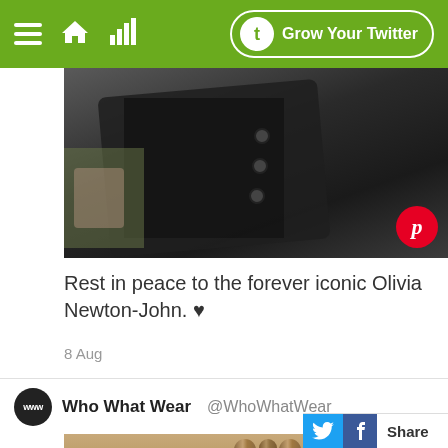Grow Your Twitter
[Figure (photo): Close-up photo of dark jacket with buttons, partial view of person wearing it. Pinterest badge overlay in bottom right.]
Rest in peace to the forever iconic Olivia Newton-John. ♥
8 Aug
Who What Wear @WhoWhatWear
[Figure (photo): Close-up photo of a brown rolled/cylindrical object (possibly incense sticks or rolled fabric) against a light background with green elements. Share bar in bottom right corner.]